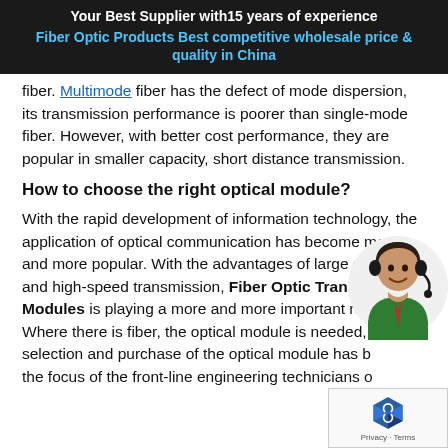Your Best Supplier with15 years of experience
Fiber Optic Products Best competitive wholesale price & quality in China
fiber. Multimode fiber has the defect of mode dispersion, its transmission performance is poorer than single-mode fiber. However, with better cost performance, they are popular in smaller capacity, short distance transmission.
How to choose the right optical module?
With the rapid development of information technology, the application of optical communication has become more and more popular. With the advantages of large capacity and high-speed transmission, Fiber Optic Transceiver Modules is playing a more and more important role. Where there is fiber, the optical module is needed, and the selection and purchase of the optical module has become the focus of the front-line engineering technicians or purchasing personnel.
[Figure (illustration): Customer service chatbot avatar icon — cartoon person with headset]
[Figure (illustration): reCAPTCHA widget with Privacy and Terms text]